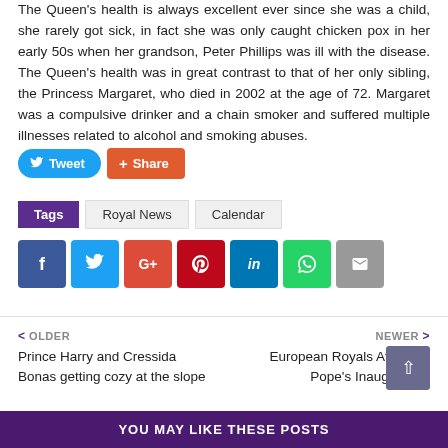The Queen's health is always excellent ever since she was a child, she rarely got sick, in fact she was only caught chicken pox in her early 50s when her grandson, Peter Phillips was ill with the disease. The Queen's health was in great contrast to that of her only sibling, the Princess Margaret, who died in 2002 at the age of 72. Margaret was a compulsive drinker and a chain smoker and suffered multiple illnesses related to alcohol and smoking abuses.
[Figure (infographic): Tweet and Share social media buttons]
Tags  Royal News  Calendar
[Figure (infographic): Social share icon buttons: Facebook, Twitter, Google+, Pinterest, LinkedIn, WhatsApp, Email]
< OLDER
Prince Harry and Cressida Bonas getting cozy at the slope
NEWER >
European Royals Attended Pope's Inauguration
YOU MAY LIKE THESE POSTS